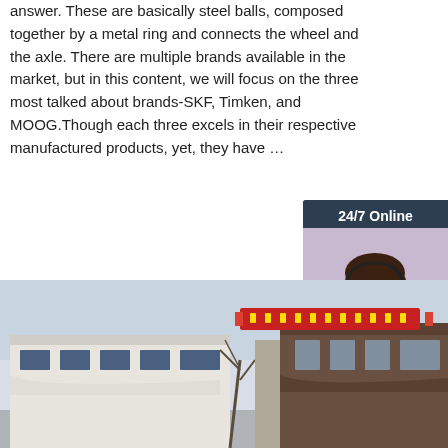answer. These are basically steel balls, composed together by a metal ring and connects the wheel and the axle. There are multiple brands available in the market, but in this content, we will focus on the three most talked about brands-SKF, Timken, and MOOG.Though each three excels in their respective manufactured products, yet, they have …
Get Price
[Figure (photo): 24/7 Online chat widget with a customer service representative wearing a headset, with options to get a quotation]
[Figure (photo): Exterior building photo showing industrial or commercial structures with a red banner]